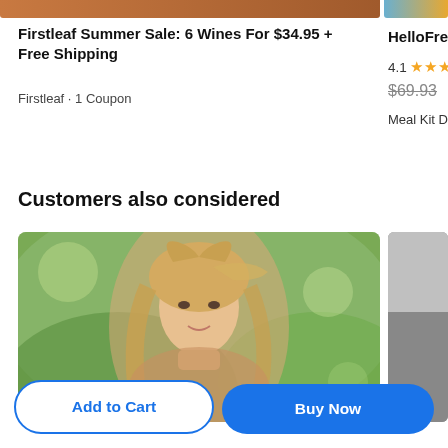[Figure (photo): Top cropped image of Firstleaf product (orange/brown tones)]
[Figure (photo): Top cropped image of HelloFresh product (blue and food tones)]
Firstleaf Summer Sale: 6 Wines For $34.95 + Free Shipping
Firstleaf · 1 Coupon
HelloFres
4.1 ★★★★
$69.93
Meal Kit De
Customers also considered
[Figure (photo): Photo of a young blonde woman outdoors with blurred green background]
[Figure (photo): Partially visible grey product image on right side]
Add to Cart
Buy Now